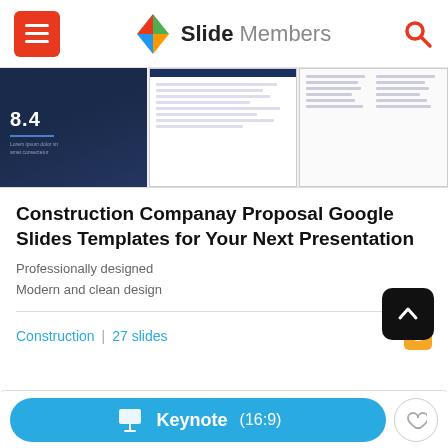Slide Members
[Figure (screenshot): Three preview slides of a Construction Company Proposal template showing dark blue title slide with '8.4', white content slide, and text columns slide]
Construction Companay Proposal Google Slides Templates for Your Next Presentation
Professionally designed
Modern and clean design
Construction  |  27 slides
[Figure (screenshot): Partial view of another slide card peeking at bottom]
Keynote  (16:9)